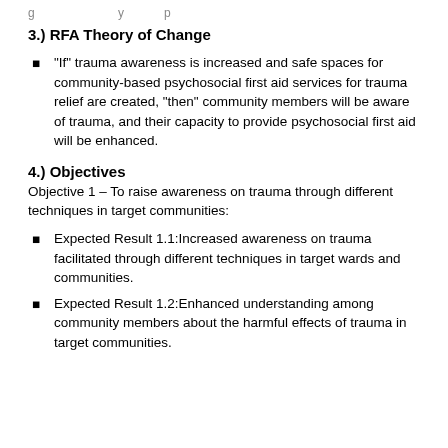3.) RFA Theory of Change
“If” trauma awareness is increased and safe spaces for community-based psychosocial first aid services for trauma relief are created, “then” community members will be aware of trauma, and their capacity to provide psychosocial first aid will be enhanced.
4.) Objectives
Objective 1 – To raise awareness on trauma through different techniques in target communities:
Expected Result 1.1:Increased awareness on trauma facilitated through different techniques in target wards and communities.
Expected Result 1.2:Enhanced understanding among community members about the harmful effects of trauma in target communities.